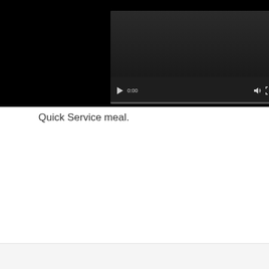[Figure (screenshot): Embedded video player (YouTube-style) with dark background, play button, time display showing 0:00, volume icon, fullscreen icon, and more options icon. A cyan play/YouTube badge is visible in the top right corner of the player. A progress bar runs along the bottom.]
Quick Service meal.